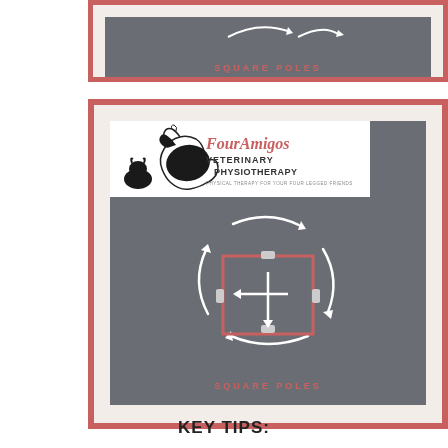[Figure (illustration): Top card partially visible showing 'SQUARE POLES' text on dark grey background with white arrow diagram, surrounded by coral/salmon border]
[Figure (illustration): Main card with FourAmigos Veterinary Physiotherapy logo at top, square poles diagram with white arrows and red square on grey background, 'SQUARE POLES' label at bottom, coral border]
KEY TIPS: